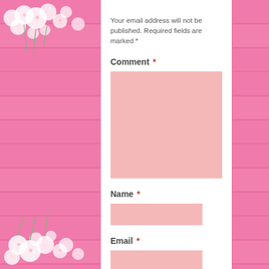Your email address will not be published. Required fields are marked *
Comment *
[Figure (screenshot): Pink input textarea for comment field]
Name *
[Figure (screenshot): Pink input field for name]
Email *
[Figure (screenshot): Pink input field for email]
Website